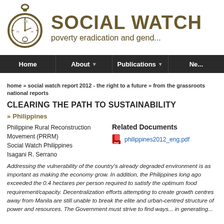[Figure (logo): Social Watch logo with pocket watch icon and text 'SOCIAL WATCH - poverty eradication and gender justice']
Home | About | Publications | Ne...
home » social watch report 2012 - the right to a future » from the grassroots national reports
CLEARING THE PATH TO SUSTAINABILITY
» Philippines
Philippine Rural Reconstruction Movement (PRRM)
Social Watch Philippines
Isagani R. Serrano
Related Documents
philippines2012_eng.pdf
Addressing the vulnerability of the country's already degraded environment is as important as making the economy grow. In addition, the Philippines long ago exceeded the 0.4 hectares per person required to satisfy the optimum food requirement/capacity. Decentralization efforts attempting to create growth centres away from Manila are still unable to break the elite and urban-centred structure of power and resources. The Government must strive to find ways... in generating...